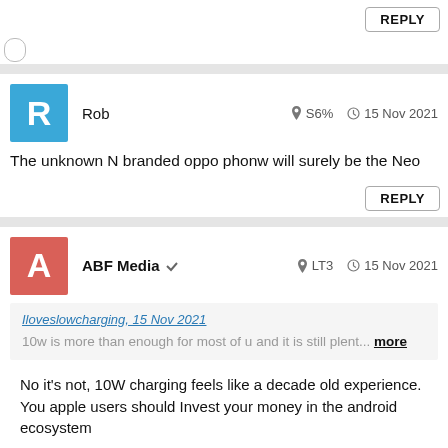[Figure (screenshot): REPLY button in top right corner]
Rob   S6%   15 Nov 2021
The unknown N branded oppo phonw will surely be the Neo
[Figure (screenshot): REPLY button]
ABF Media   LT3   15 Nov 2021
Iloveslowcharging, 15 Nov 2021
10w is more than enough for most of u and it is still plent... more
No it's not, 10W charging feels like a decade old experience.
You apple users should Invest your money in the android ecosystem